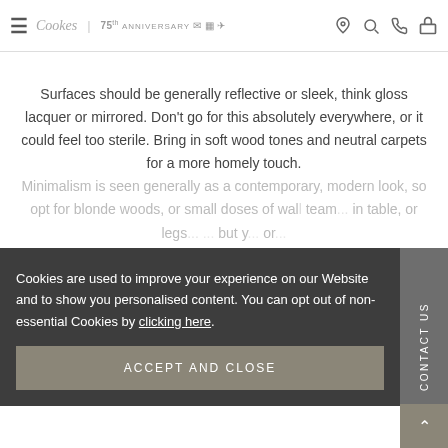Cookes | 75th Anniversary — navigation header with hamburger menu and icons
Surfaces should be generally reflective or sleek, think gloss lacquer or mirrored. Don't go for this absolutely everywhere, or it could feel too sterile. Bring in soft wood tones and neutral carpets for a more homely touch. Minimalism is seen generally as a contemporary, modern look, so opt for blonde woods, or small doses of wall... team... in table, or legs... ... ... but y... ... ... or ... colourful design.
Cookies are used to improve your experience on our Website and to show you personalised content. You can opt out of non-essential Cookies by clicking here.
ACCEPT AND CLOSE